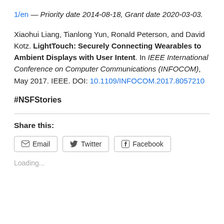1/en — Priority date 2014-08-18, Grant date 2020-03-03.
Xiaohui Liang, Tianlong Yun, Ronald Peterson, and David Kotz. LightTouch: Securely Connecting Wearables to Ambient Displays with User Intent. In IEEE International Conference on Computer Communications (INFOCOM), May 2017. IEEE. DOI: 10.1109/INFOCOM.2017.8057210
#NSFStories
Share this:
Loading...